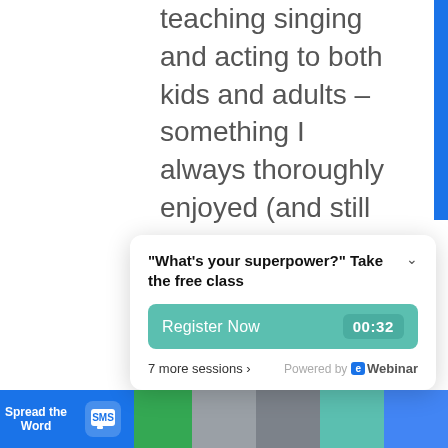teaching singing and acting to both kids and adults – something I always thoroughly enjoyed (and still do).  But the speech coaching came along as a happy accident.
I went for an interview at a company that I assumed wanted me as a singing teacher, but it turns out they needed a public speaking/speech coach. My immediate thought was – yeah, I
My fir
[Figure (screenshot): Webinar popup widget with title '"What's your superpower?" Take the free class', a teal Register Now button showing timer 00:32, '7 more sessions ›' link, and 'Powered by eWebinar' branding]
[Figure (other): Bottom toolbar with 'Spread the Word' blue button, SMS share icon button, and colored social sharing dot buttons in green, gray, teal, and blue]